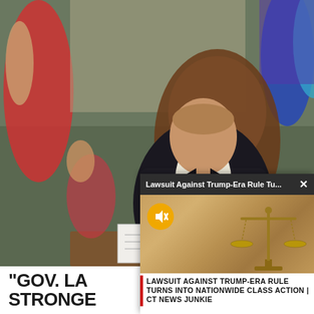[Figure (screenshot): Video screenshot showing a man in a dark suit signing documents at a desk, with people standing behind him in a formal setting. Colorful clothing visible in background.]
"GOV. LA... STRONGE...
[Figure (screenshot): Popup video overlay showing scales of justice image with title bar 'Lawsuit Against Trump-Era Rule Tu...' and mute icon. Caption reads: 'LAWSUIT AGAINST TRUMP-ERA RULE TURNS INTO NATIONWIDE CLASS ACTION | CT NEWS JUNKIE']